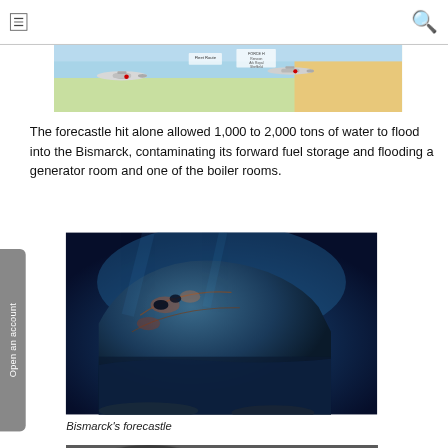Navigation bar with hamburger menu and search icon
[Figure (photo): Partial top image showing military aircraft over a map]
The forecastle hit alone allowed 1,000 to 2,000 tons of water to flood into the Bismarck, contaminating its forward fuel storage and flooding a generator room and one of the boiler rooms.
[Figure (photo): Underwater photograph of the Bismarck's forecastle, showing the rusted bow of the sunken battleship against a blue underwater backdrop]
Bismarck's forecastle
[Figure (photo): Partial view of another image at the bottom of the page]